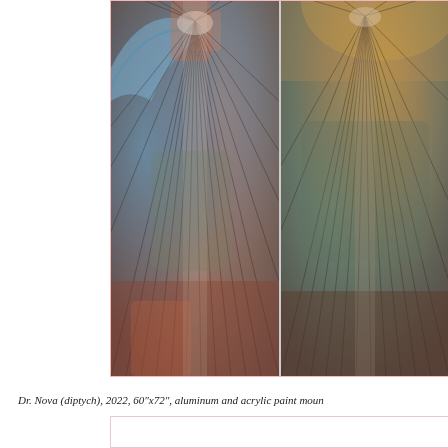[Figure (photo): A diptych artwork photograph showing two panels side by side. Both panels display abstract, layered imagery with radiating lines fanning outward from a central point, set against a colorful background with blues, greens, oranges, reds, and earth tones. The left panel has a blue arc in the upper left and warm reddish-orange tones below. The right panel is warmer in the upper area with yellows and oranges. The whole image has a textured, mixed-media appearance suggesting aluminum and acrylic paint on a mounted surface.]
Dr. Nova (diptych), 2022, 60"x72", aluminum and acrylic paint moun